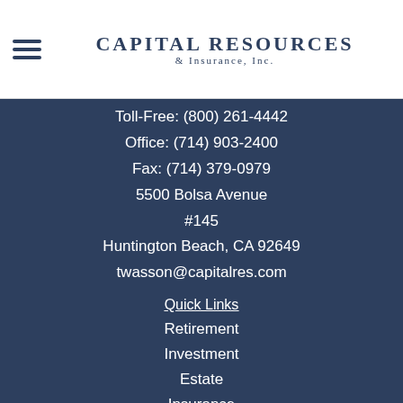[Figure (logo): Capital Resources & Insurance, Inc. logo with hamburger menu icon on the left]
Toll-Free: (800) 261-4442
Office: (714) 903-2400
Fax: (714) 379-0979
5500 Bolsa Avenue
#145
Huntington Beach, CA 92649
twasson@capitalres.com
Quick Links
Retirement
Investment
Estate
Insurance
Tax
Money
Lifestyle